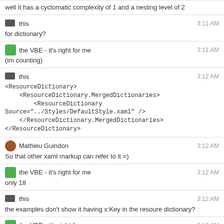well it has a cyclomatic complexity of 1 and a nesting level of 2
this — 3:11 AM
for dictionary?
the VBE - it's right for me — 3:11 AM
(im counting)
this — 3:12 AM
<ResourceDictionary>
    <ResourceDictionary.MergedDictionaries>
        <ResourceDictionary Source="../Styles/DefaultStyle.xaml" />
    </ResourceDictionary.MergedDictionaries>
</ResourceDictionary>
Mathieu Guindon — 3:12 AM
So that other xaml markup can refer to it =)
the VBE - it's right for me — 3:12 AM
only 18
this — 3:12 AM
the examples don't show it having x:Key in the resoure dictionary?
the VBE - it's right for me — 3:12 AM
not anywhere near what you thought was problematic